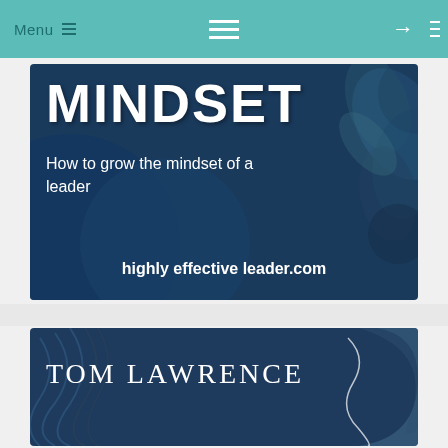Menu ☰
[Figure (illustration): Book cover or promotional graphic for 'MINDSET — How to grow the mindset of a leader' with website highlyeffectiveleader.com, dark navy blue background with circular shapes and plant decoration]
[Figure (illustration): Promotional card for TOM LAWRENCE on a dark navy background with abstract wavy line decorations and curved shape on the right]